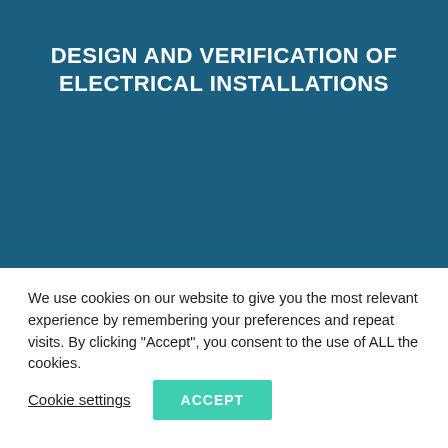[Figure (illustration): Dark teal/blue geometric hexagonal polygon background pattern]
DESIGN AND VERIFICATION OF ELECTRICAL INSTALLATIONS
We use cookies on our website to give you the most relevant experience by remembering your preferences and repeat visits. By clicking “Accept”, you consent to the use of ALL the cookies.
Cookie settings | ACCEPT